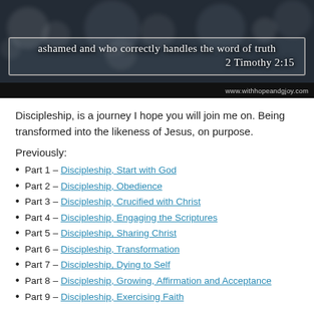[Figure (illustration): Dark bokeh background banner image with handwritten-style text: 'ashamed and who correctly handles the word of truth 2 Timothy 2:15']
www.withhopeandgjoy.com
Discipleship, is a journey I hope you will join me on. Being transformed into the likeness of Jesus, on purpose.
Previously:
Part 1 – Discipleship, Start with God
Part 2 – Discipleship, Obedience
Part 3 – Discipleship, Crucified with Christ
Part 4 – Discipleship, Engaging the Scriptures
Part 5 – Discipleship, Sharing Christ
Part 6 – Discipleship, Transformation
Part 7 – Discipleship, Dying to Self
Part 8 – Discipleship, Growing, Affirmation and Acceptance
Part 9 – Discipleship, Exercising Faith